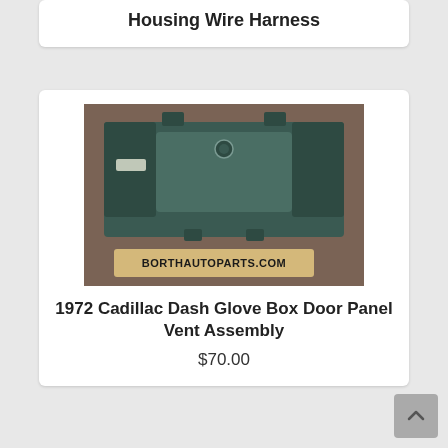Housing Wire Harness
[Figure (photo): Photo of a 1972 Cadillac Dash Glove Box Door Panel Vent Assembly, dark green/teal plastic part, with a BORTHAUTOPARTS.COM sign in the foreground]
1972 Cadillac Dash Glove Box Door Panel Vent Assembly
$70.00